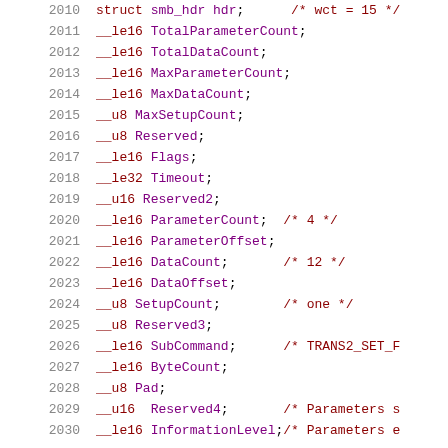Code listing lines 2010-2030: C struct field declarations for SMB header
2010    struct smb_hdr hdr;      /* wct = 15 */
2011    __le16 TotalParameterCount;
2012    __le16 TotalDataCount;
2013    __le16 MaxParameterCount;
2014    __le16 MaxDataCount;
2015    __u8 MaxSetupCount;
2016    __u8 Reserved;
2017    __le16 Flags;
2018    __le32 Timeout;
2019    __u16 Reserved2;
2020    __le16 ParameterCount;  /* 4 */
2021    __le16 ParameterOffset;
2022    __le16 DataCount;       /* 12 */
2023    __le16 DataOffset;
2024    __u8 SetupCount;        /* one */
2025    __u8 Reserved3;
2026    __le16 SubCommand;      /* TRANS2_SET_F
2027    __le16 ByteCount;
2028    __u8 Pad;
2029    __u16 Reserved4;        /* Parameters s
2030    __le16 InformationLevel;/* Parameters e